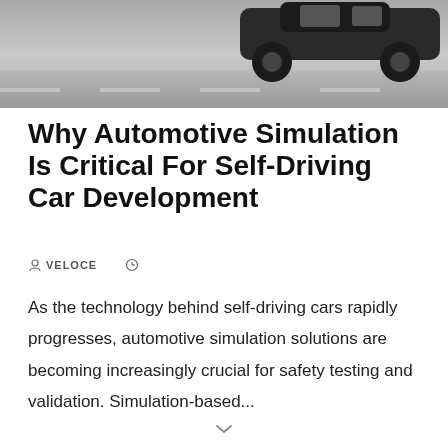[Figure (photo): Black and white photograph of a car on a road, cropped to show the lower portion of the vehicle and road surface]
Why Automotive Simulation Is Critical For Self-Driving Car Development
VELOCE  ⊙
As the technology behind self-driving cars rapidly progresses, automotive simulation solutions are becoming increasingly crucial for safety testing and validation. Simulation-based...